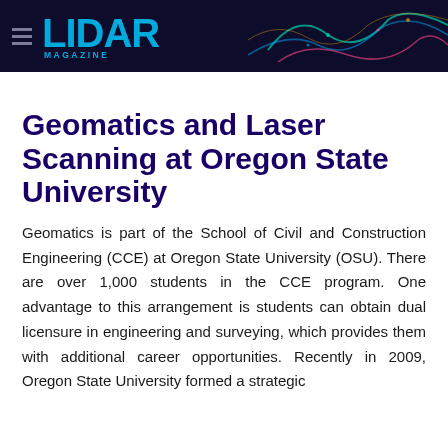LIDAR MAGAZINE
Geomatics and Laser Scanning at Oregon State University
Geomatics is part of the School of Civil and Construction Engineering (CCE) at Oregon State University (OSU). There are over 1,000 students in the CCE program. One advantage to this arrangement is students can obtain dual licensure in engineering and surveying, which provides them with additional career opportunities. Recently in 2009, Oregon State University formed a strategic